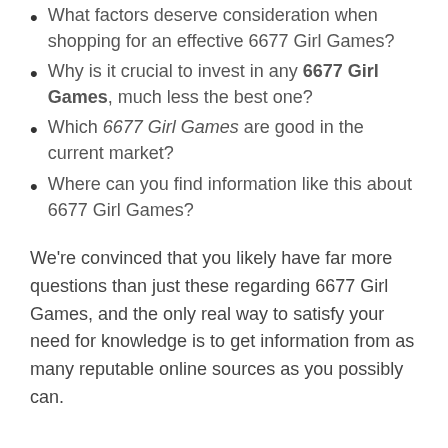What factors deserve consideration when shopping for an effective 6677 Girl Games?
Why is it crucial to invest in any 6677 Girl Games, much less the best one?
Which 6677 Girl Games are good in the current market?
Where can you find information like this about 6677 Girl Games?
We're convinced that you likely have far more questions than just these regarding 6677 Girl Games, and the only real way to satisfy your need for knowledge is to get information from as many reputable online sources as you possibly can.